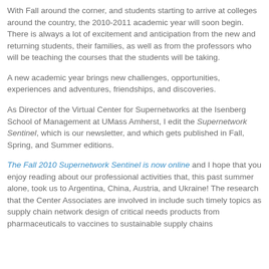With Fall around the corner, and students starting to arrive at colleges around the country, the 2010-2011 academic year will soon begin. There is always a lot of excitement and anticipation from the new and returning students, their families, as well as from the professors who will be teaching the courses that the students will be taking.
A new academic year brings new challenges, opportunities, experiences and adventures, friendships, and discoveries.
As Director of the Virtual Center for Supernetworks at the Isenberg School of Management at UMass Amherst, I edit the Supernetwork Sentinel, which is our newsletter, and which gets published in Fall, Spring, and Summer editions.
The Fall 2010 Supernetwork Sentinel is now online and I hope that you enjoy reading about our professional activities that, this past summer alone, took us to Argentina, China, Austria, and Ukraine! The research that the Center Associates are involved in include such timely topics as supply chain network design of critical needs products from pharmaceuticals to vaccines to sustainable supply chains...